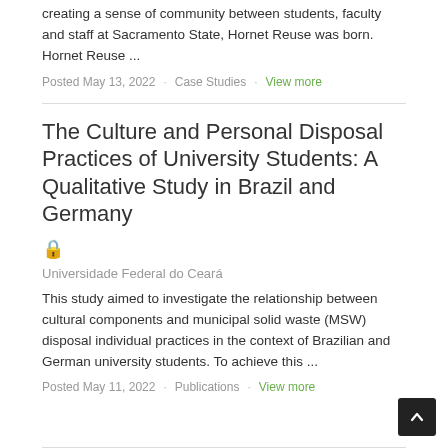creating a sense of community between students, faculty and staff at Sacramento State, Hornet Reuse was born. Hornet Reuse ...
Posted May 13, 2022   Case Studies   View more
The Culture and Personal Disposal Practices of University Students: A Qualitative Study in Brazil and Germany
Universidade Federal do Ceará
This study aimed to investigate the relationship between cultural components and municipal solid waste (MSW) disposal individual practices in the context of Brazilian and German university students. To achieve this ...
Posted May 11, 2022   Publications   View more